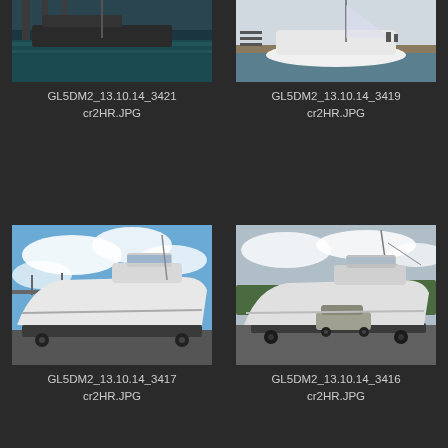[Figure (photo): Photo of a boat at a dock with dark teal water and pier structure]
GL5DM2_13.10.14_3421
cr2HR.JPG
[Figure (photo): Photo of a white sailboat at a dock]
GL5DM2_13.10.14_3419
cr2HR.JPG
[Figure (photo): Photo of a large white sport fishing boat on a trailer under blue sky]
GL5DM2_13.10.14_3417
cr2HR.JPG
[Figure (photo): Photo of a large white sport fishing boat on a trailer in a parking area with an SUV nearby]
GL5DM2_13.10.14_3416
cr2HR.JPG